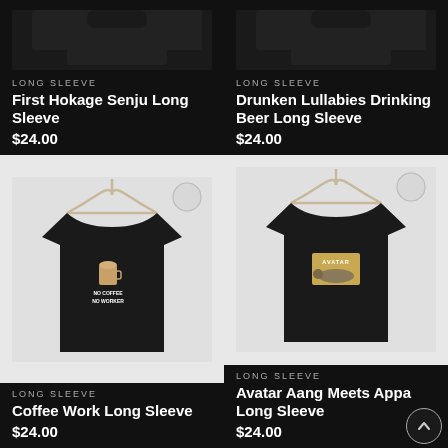[Figure (photo): Black long sleeve shirt on hanger, top portion only visible, cropped]
LONG SLEEVE
First Hokage Senju Long Sleeve
$24.00
[Figure (photo): Black long sleeve shirt on hanger, top portion only visible, cropped]
LONG SLEEVE
Drunken Lullabies Drinking Beer Long Sleeve
$24.00
[Figure (photo): Black long sleeve shirt on hanger with 'NO COFFEE NO WORKER' graphic and coffee cup on chest, displayed on light gray background]
LONG SLEEVE
Coffee Work Long Sleeve
$24.00
[Figure (photo): Black long sleeve shirt on hanger with Avatar Aang meets Appa graphic on chest, displayed on light gray background]
LONG SLEEVE
Avatar Aang Meets Appa Long Sleeve
$24.00